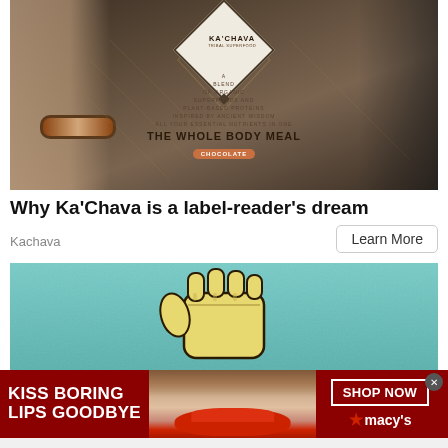[Figure (photo): Ka'Chava Tribal Superfood bag held by a person with bracelets. The bag shows 'THE WHOLE BODY MEAL - CHOCOLATE' text and the Ka'Chava diamond logo.]
Why Ka'Chava is a label-reader's dream
Kachava
Learn More
[Figure (illustration): Mural-style illustration of a pointing fist on a teal/turquoise textured background.]
[Figure (photo): Macy's banner ad: woman with red lips. Text: 'KISS BORING LIPS GOODBYE', 'SHOP NOW', Macy's star logo.]